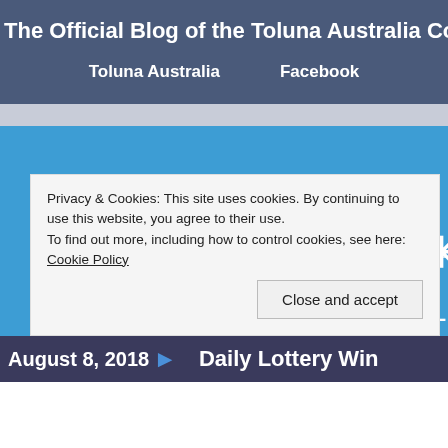The Official Blog of the Toluna Australia Comm
Toluna Australia    Facebook
[Figure (logo): Toluna logo with star/asterisk graphic and 'THE OFFICIAL BL' text on blue background]
Privacy & Cookies: This site uses cookies. By continuing to use this website, you agree to their use.
To find out more, including how to control cookies, see here: Cookie Policy
Close and accept
August 8, 2018    Daily Lottery Win